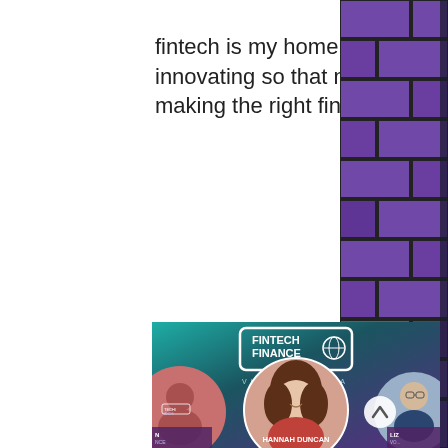fintech is my home. I plan to continue pushing and innovating so that more people can see the true benefit of making the right financial choices.
[Figure (photo): Fintech Finance Virtual Arena panel screenshot showing Hannah Duncan in the center circle with other panelists partially visible on left and right, on a teal-to-purple gradient background with Fintech Finance logo and 'VIRTUAL ARENA' text]